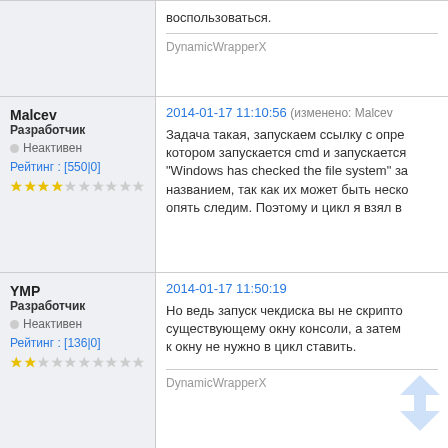воспользоваться.
DynamicWrapperX
Malcev
Разработчик
Неактивен
Рейтинг : [550|0]
2014-01-17 11:10:56 (изменено: Malcev...)
Задача такая, запускаем ссылку с опре- котором запускается cmd и запускается... "Windows has checked the file system" за- названием, так как их может быть неско- опять следим. Поэтому и цикл я взял в
YMP
Разработчик
Неактивен
Рейтинг : [136|0]
2014-01-17 11:50:19
Но ведь запуск чекдиска вы не скрипто- существующему окну консоли, а затем к окну не нужно в цикл ставить.
DynamicWrapperX
YMP
2014-01-17 12:32:57